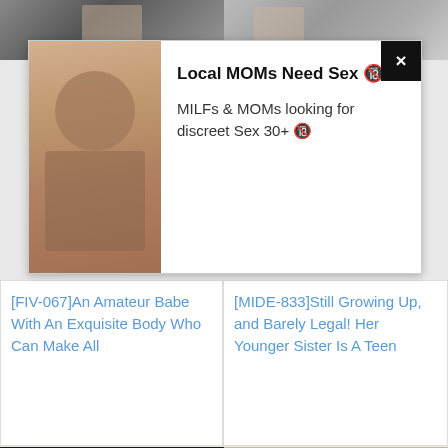[Figure (photo): Top row of two video thumbnails - left shows dark/shadow image, right shows partially visible image]
[Figure (infographic): Ad overlay with photo of woman, text: Local MOMs Need Sex, MILFs & MOMs looking for discreet Sex 30+, with X close button]
Local MOMs Need Sex 🔞
MILFs & MOMs looking for discreet Sex 30+ 🔞
[FIV-067]An Amateur Babe With An Exquisite Body Who Can Make All
[MIDE-833]Still Growing Up, and Barely Legal! Her Younger Sister Is A Teen
[Figure (photo): Large bottom-left thumbnail with Japanese text and tags JJAA-038, JJAA038, JJAA - voyeur themed video cover]
[Figure (photo): Large bottom-right thumbnail with Japanese text and tags MICA-026, MICA026, MICA - sleeping woman themed video cover]